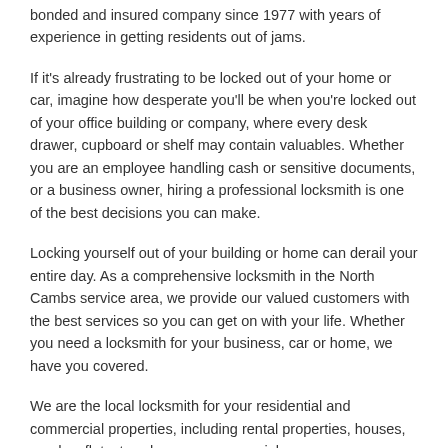bonded and insured company since 1977 with years of experience in getting residents out of jams.
If it's already frustrating to be locked out of your home or car, imagine how desperate you'll be when you're locked out of your office building or company, where every desk drawer, cupboard or shelf may contain valuables. Whether you are an employee handling cash or sensitive documents, or a business owner, hiring a professional locksmith is one of the best decisions you can make.
Locking yourself out of your building or home can derail your entire day. As a comprehensive locksmith in the North Cambs service area, we provide our valued customers with the best services so you can get on with your life. Whether you need a locksmith for your business, car or home, we have you covered.
We are the local locksmith for your residential and commercial properties, including rental properties, houses, condos, flats, townhouses, commercial